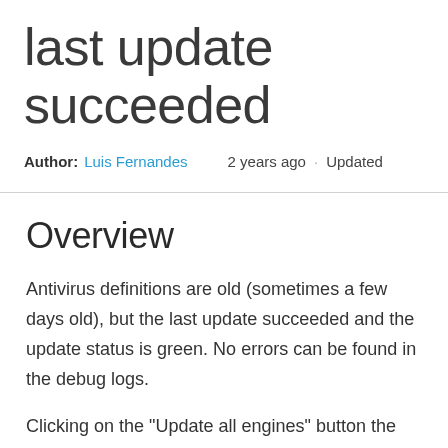last update succeeded
Author: Luis Fernandes    2 years ago · Updated
Overview
Antivirus definitions are old (sometimes a few days old), but the last update succeeded and the update status is green. No errors can be found in the debug logs.
Clicking on the "Update all engines" button the update fails with the following error details: